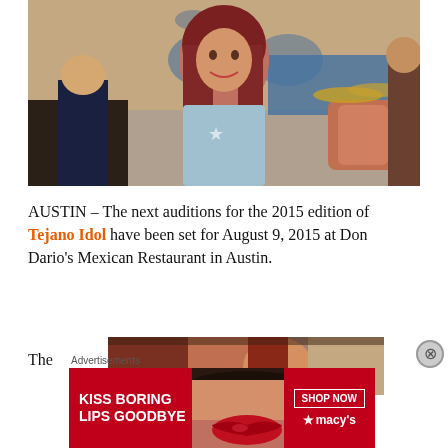[Figure (photo): Singer performing at an outdoor venue, woman with red/brown hair in a sparkly top holding a microphone stand, with band musicians and drums visible in the background]
AUSTIN – The next auditions for the 2015 edition of Tejano Idol have been set for August 9, 2015 at Don Dario's Mexican Restaurant in Austin.
The
[Figure (photo): Partial second photo of the singer, visible behind article text]
[Figure (photo): Advertisement banner: KISS BORING LIPS GOODBYE with Macy's SHOP NOW button, showing a woman's face with red lipstick]